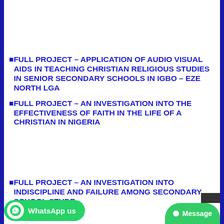FULL PROJECT – APPLICATION OF AUDIO VISUAL AIDS IN TEACHING CHRISTIAN RELIGIOUS STUDIES IN SENIOR SECONDARY SCHOOLS IN IGBO – EZE NORTH LGA
FULL PROJECT – AN INVESTIGATION INTO THE EFFECTIVENESS OF FAITH IN THE LIFE OF A CHRISTIAN IN NIGERIA
FULL PROJECT – AN INVESTIGATION INTO INDISCIPLINE AND FAILURE AMONG SECONDARY SCHOOL STUDENTS